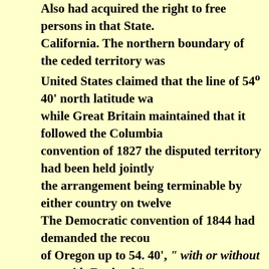Also had acquired the right to free persons in that State. California. The northern boundary of the ceded territory was United States claimed that the line of 54º 40' north latitude wa while Great Britain maintained that it followed the Columbia convention of 1827 the disputed territory had been held jointly the arrangement being terminable by either country on twelve The Democratic convention of 1844 had demanded the recou of Oregon up to 54. 40', " with or without war with England," summarized in the campaign rallying-cry of " Fifty-four-forty annexation of Texas having been accomplished, the Whigs no Democrats to carry out their promise regarding Oregon, and, the extreme southern Democrats, the president was directed t twelve months' notice. Further negotiations ensued, which res Great Britain to yield her claim to the unoccupied territory b parallel and Columbia river, and acknowledge that parallel as boundary. As the president had subscribed to the platform of convention, he threw upon the senate the responsibility of dec claim of the United States to the whole of Oregon should be in compromise proposed by her majesty's government accepted. vote of 41 to 14, decided in favor of the latter alternative, and the treaty was signed. Two other important questions were acted upon at the first se congress, the tariff and internal improvements. The former ha issue in the presidential contest of 1844. The act of 1842 had v principles of the compromise bill of 1833, and the opinions of